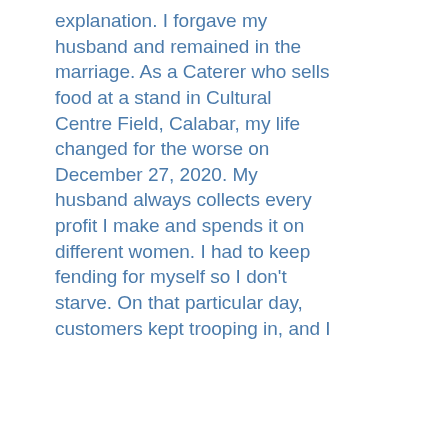explanation. I forgave my husband and remained in the marriage. As a Caterer who sells food at a stand in Cultural Centre Field, Calabar, my life changed for the worse on December 27, 2020. My husband always collects every profit I make and spends it on different women. I had to keep fending for myself so I don't starve. On that particular day, customers kept trooping in, and I